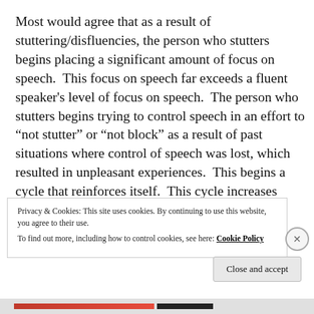Most would agree that as a result of stuttering/disfluencies, the person who stutters begins placing a significant amount of focus on speech. This focus on speech far exceeds a fluent speaker's level of focus on speech. The person who stutters begins trying to control speech in an effort to “not stutter” or “not block” as a result of past situations where control of speech was lost, which resulted in unpleasant experiences. This begins a cycle that reinforces itself. This cycle increases conscious awareness of speech and increases the desire to control one’s speech.
Privacy & Cookies: This site uses cookies. By continuing to use this website, you agree to their use.
To find out more, including how to control cookies, see here: Cookie Policy
Close and accept